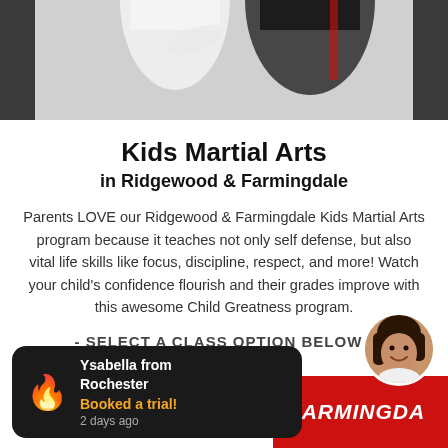[Figure (photo): Two people practicing martial arts/karate in white uniforms on a white mat, dark background on sides]
Kids Martial Arts
in Ridgewood & Farmingdale
Parents LOVE our Ridgewood & Farmingdale Kids Martial Arts program because it teaches not only self defense, but also vital life skills like focus, discipline, respect, and more! Watch your child's confidence flourish and their grades improve with this awesome Child Greatness program.
- SELECT A CLASS OPTION BELOW -
[Figure (screenshot): Notification popup: fire emoji, 'Ysabella from Rochester' in white bold text, 'Booked a trial!' in orange, '2 days ago' in grey, on dark rounded rectangle background]
FARMINGDA
[Figure (photo): Circular avatar of a smiling dark-haired woman]